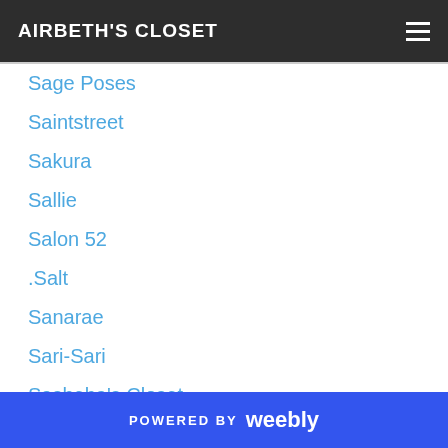AIRBETH'S CLOSET
Sage Poses
Saintstreet
Sakura
Sallie
Salon 52
.Salt
Sanarae
Sari-Sari
Sasheba's Closet
Sassy!
Saturday Sale
.S&C.
Scandal Fashions
Scandalize.
{Scene}
POWERED BY weebly